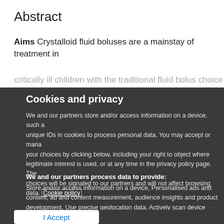Abstract
Aims Crystalloid fluid boluses are a mainstay of treatment in critically ill children with the traditional fluid bolus choice being...
Cookies and privacy
We and our partners store and/or access information on a device, such as unique IDs in cookies to process personal data. You may accept or manage your choices by clicking below, including your right to object where legitimate interest is used, or at any time in the privacy policy page. These choices will be signaled to our partners and will not affect browsing data. Cookie policy
We and our partners process data to provide:
Store and/or access information on a device, Personalised ads and content, ad and content measurement, audience insights and product development, Use precise geolocation data, Actively scan device characteristics for identification
List of Partners (vendors)
I Accept